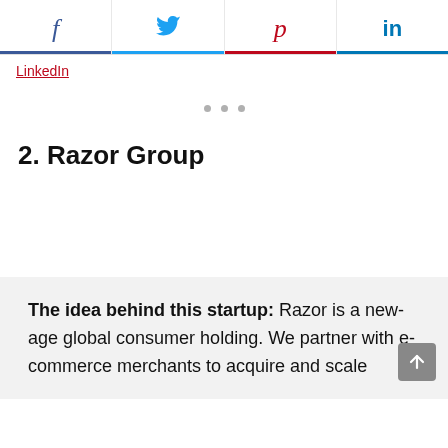[Figure (other): Social media share bar with Facebook (f), Twitter (bird), Pinterest (P), LinkedIn (in) icons, each with colored underline]
LinkedIn
[Figure (other): Three gray dots indicating a carousel or pagination indicator]
2. Razor Group
The idea behind this startup: Razor is a new-age global consumer holding. We partner with e-commerce merchants to acquire and scale